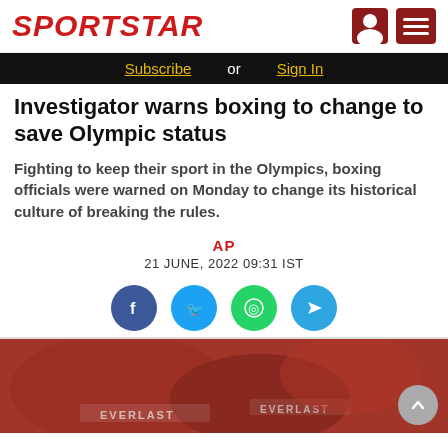SPORTSTAR
Subscribe or Sign In
Investigator warns boxing to change to save Olympic status
Fighting to keep their sport in the Olympics, boxing officials were warned on Monday to change its historical culture of breaking the rules.
AP
21 JUNE, 2022 09:31 IST
[Figure (photo): Boxing gloves (red and white) shown in close-up at the bottom of the page]